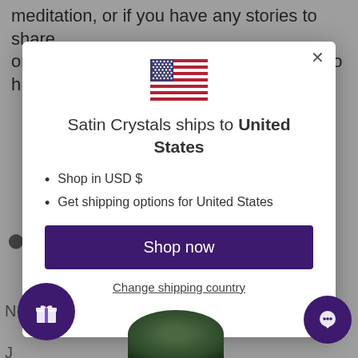meditation, or if you have any stories to share or questions to ask, we would be thrilled to h
[Figure (screenshot): A modal popup dialog on a website showing a US flag, a message 'Satin Crystals ships to United States', bullet points for shop currency and shipping options, a 'Shop now' button, and a 'Change shipping country' link. Bottom left has a gift icon button and bottom right has a chat icon button.]
Satin Crystals ships to United States
Shop in USD $
Get shipping options for United States
Shop now
Change shipping country